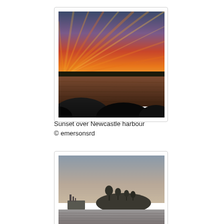[Figure (photo): Sunset over Newcastle harbour — dramatic orange and red streaked sky with dark rocky foreground and water in the middle.]
Sunset over Newcastle harbour
© emersonsrd
[Figure (photo): Newcastle harbour scene with a vessel on the left, a wooded island or headland in the centre, under a muted grey-beige sky, water in foreground.]